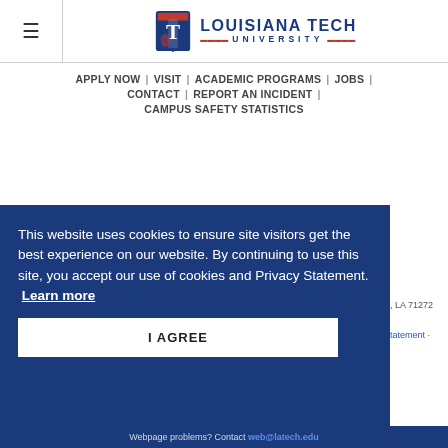[Figure (logo): Louisiana Tech University logo with T icon, red and blue text]
APPLY NOW | VISIT | ACADEMIC PROGRAMS | JOBS | CONTACT | REPORT AN INCIDENT | CAMPUS SAFETY STATISTICS
This website uses cookies to ensure site visitors get the best experience on our website. By continuing to use this site, you accept our use of cookies and Privacy Statement. Learn more
I AGREE
Webpage problems? Contact web@latech.edu